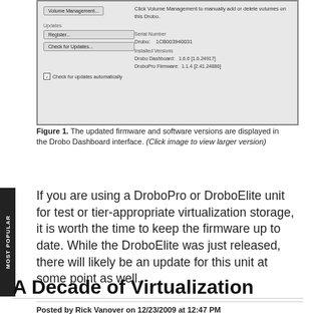[Figure (screenshot): Drobo Dashboard interface screenshot showing Volume Management button, Updates section with Register and Check for Updates buttons, Serial Number, and Installed Versions for Drobo Dashboard and DroboPro Firmware]
Figure 1. The updated firmware and software versions are displayed in the Drobo Dashboard interface. (Click image to view larger version)
If you are using a DroboPro or DroboElite unit for test or tier-appropriate virtualization storage, it is worth the time to keep the firmware up to date. While the DroboElite was just released, there will likely be an update for this unit at some point as well.
Posted by Rick Vanover on 12/23/2009 at 12:47 PM
A Decade of Virtualization